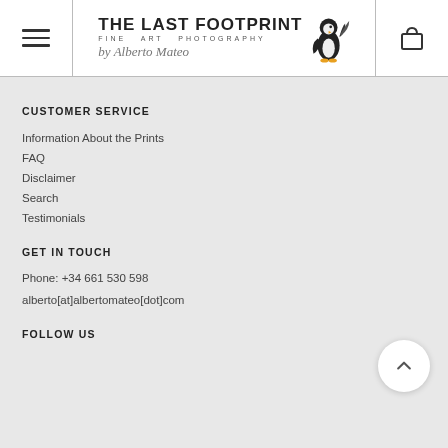THE LAST FOOTPRINT — FINE ART PHOTOGRAPHY by Alberto Mateo
CUSTOMER SERVICE
Information About the Prints
FAQ
Disclaimer
Search
Testimonials
GET IN TOUCH
Phone: +34 661 530 598
alberto[at]albertomateo[dot]com
FOLLOW US